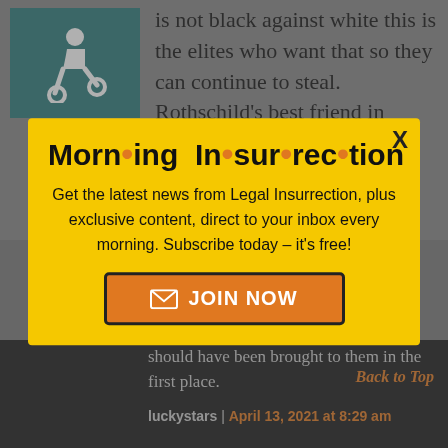is not black against white this is the elites who want that so they can continue to steal. Rothschild's best friend in Carlos Slim who owns
[Figure (screenshot): Modal popup with yellow background containing Morning Insurrection newsletter signup. Has a close button (X) in top-right corner. Title 'Morning Insurrection' in large bold black text with orange dots between syllables. Body text reads: 'Get the latest news from Legal Insurrection, plus exclusive content, direct to your inbox every morning. Subscribe today – it's free!' with an orange JOIN NOW button with envelope icon.]
should have been brought to them in the first place.
luckystars | April 13, 2021 at 8:29 am